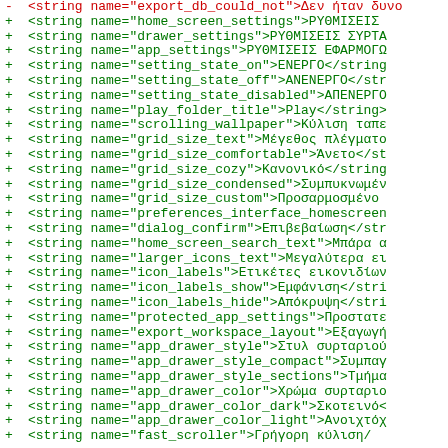- <string name="export_db_could_not">Δεν ήταν δυνα
+ <string name="home_screen_settings">ΡΥΘΜΙΣΕΙΣ
+ <string name="drawer_settings">ΡΥΘΜΙΣΕΙΣ ΣΥΡΤΑ
+ <string name="app_settings">ΡΥΘΜΙΣΕΙΣ ΕΦΑΡΜΟΓΩ
+ <string name="setting_state_on">ΕΝΕΡΓΟ</string
+ <string name="setting_state_off">ΑΝΕΝΕΡΓΟ</str
+ <string name="setting_state_disabled">ΑΠΕΝΕΡΓΟ
+ <string name="play_folder_title">Play</string>
+ <string name="scrolling_wallpaper">Κύλιση ταπε
+ <string name="grid_size_text">Μέγεθος πλέγματο
+ <string name="grid_size_comfortable">Άνετο</st
+ <string name="grid_size_cozy">Κανονικό</string
+ <string name="grid_size_condensed">Συμπυκνωμέν
+ <string name="grid_size_custom">Προσαρμοσμένο
+ <string name="preferences_interface_homescreen
+ <string name="dialog_confirm">Επιβεβαίωση</str
+ <string name="home_screen_search_text">Μπάρα α
+ <string name="larger_icons_text">Μεγαλύτερα ει
+ <string name="icon_labels">Ετικέτες εικονιδίων
+ <string name="icon_labels_show">Εμφάνιση</stri
+ <string name="icon_labels_hide">Απόκρυψη</stri
+ <string name="protected_app_settings">Προστατε
+ <string name="export_workspace_layout">Εξαγωγή
+ <string name="app_drawer_style">Στυλ συρταριού
+ <string name="app_drawer_style_compact">Συμπαγ
+ <string name="app_drawer_style_sections">Τμήμα
+ <string name="app_drawer_color">Χρώμα συρταριο
+ <string name="app_drawer_color_dark">Σκοτεινό<
+ <string name="app_drawer_color_light">Ανοιχτόχ
+ <string name="fast_scroller">Γρήγορη κύλιση/